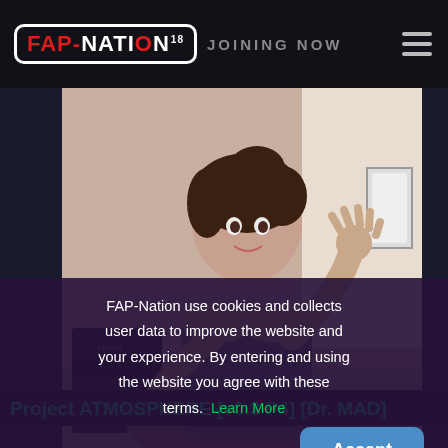FAP-NATION 18 | JOINING NOW
[Figure (illustration): 3D rendered CG female character in sportswear, waving, with music amplifiers in background]
Project ATMOSPHERE [v0.3 P4] [Dr. MAD]
FAP-Nation use cookies and collects user data to improve the website and your experience. By entering and using the website you agree with these terms. Learn More
Accept